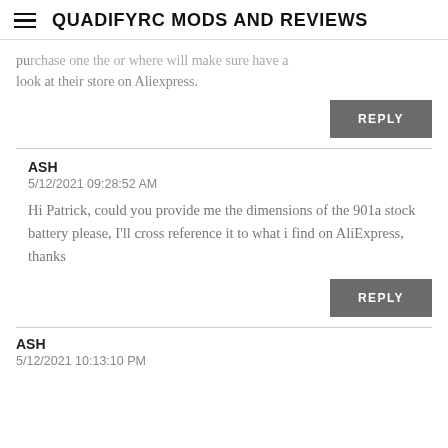QUADIFYRC MODS AND REVIEWS
purchase one the or where will make sure have a look at their store on Aliexpress.
REPLY
ASH
5/12/2021 09:28:52 AM
Hi Patrick, could you provide me the dimensions of the 901a stock battery please, I'll cross reference it to what i find on AliExpress, thanks
REPLY
ASH
5/12/2021 10:13:10 PM